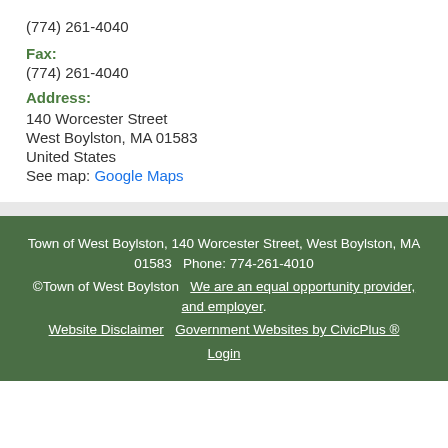(774) 261-4040
Fax:
(774) 261-4040
Address:
140 Worcester Street
West Boylston, MA 01583
United States
See map: Google Maps
Town of West Boylston, 140 Worcester Street, West Boylston, MA 01583   Phone: 774-261-4010
©Town of West Boylston   We are an equal opportunity provider, and employer.
Website Disclaimer   Government Websites by CivicPlus ®
Login